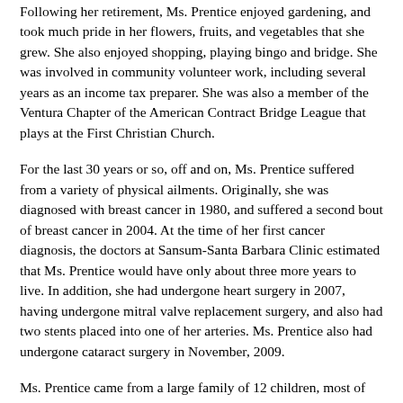Following her retirement, Ms. Prentice enjoyed gardening, and took much pride in her flowers, fruits, and vegetables that she grew. She also enjoyed shopping, playing bingo and bridge. She was involved in community volunteer work, including several years as an income tax preparer. She was also a member of the Ventura Chapter of the American Contract Bridge League that plays at the First Christian Church.
For the last 30 years or so, off and on, Ms. Prentice suffered from a variety of physical ailments. Originally, she was diagnosed with breast cancer in 1980, and suffered a second bout of breast cancer in 2004. At the time of her first cancer diagnosis, the doctors at Sansum-Santa Barbara Clinic estimated that Ms. Prentice would have only about three more years to live. In addition, she had undergone heart surgery in 2007, having undergone mitral valve replacement surgery, and also had two stents placed into one of her arteries. Ms. Prentice also had undergone cataract surgery in November, 2009.
Ms. Prentice came from a large family of 12 children, most of whom preceded her in death. Her